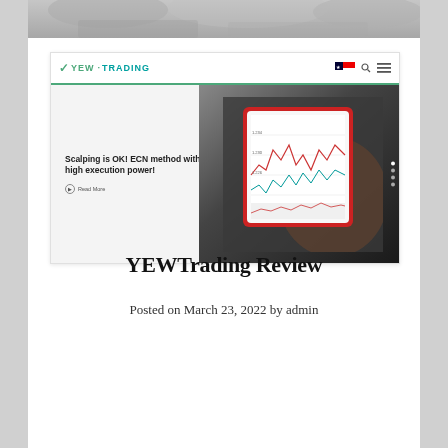[Figure (screenshot): Screenshot of YEW Trading website showing navigation bar with YEW TRADING logo (green checkmark and teal text), and a hero banner with text 'Scalping is OK! ECN method with high execution power!' alongside an image of a hand holding a tablet showing trading charts]
YEWTrading Review
Posted on March 23, 2022 by admin